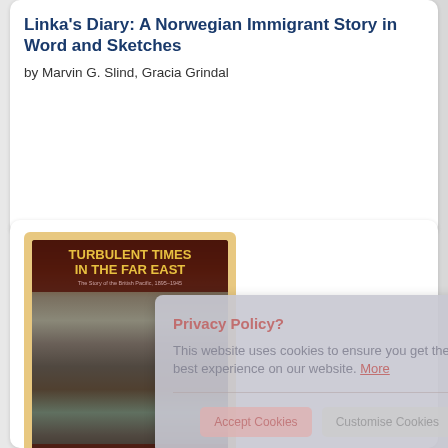Linka's Diary: A Norwegian Immigrant Story in Word and Sketches
by Marvin G. Slind, Gracia Grindal
[Figure (photo): Book cover of 'Turbulent Times in the Far East' by Desmond Malone, showing a dark historical street scene photograph with red and gold title text on a dark background, set inside a golden/tan border.]
Turbulent Times In
Privacy Policy? This website uses cookies to ensure you get the best experience on our website. More
Accept Cookies   Customise Cookies